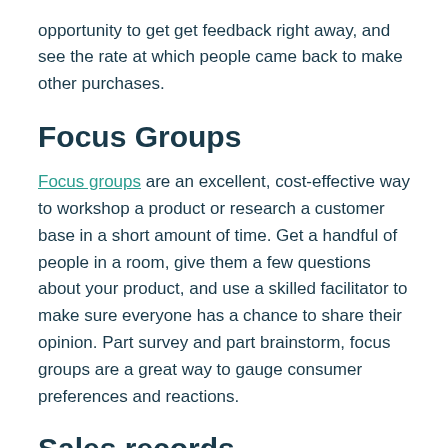opportunity to get get feedback right away, and see the rate at which people came back to make other purchases.
Focus Groups
Focus groups are an excellent, cost-effective way to workshop a product or research a customer base in a short amount of time. Get a handful of people in a room, give them a few questions about your product, and use a skilled facilitator to make sure everyone has a chance to share their opinion. Part survey and part brainstorm, focus groups are a great way to gauge consumer preferences and reactions.
Sales records